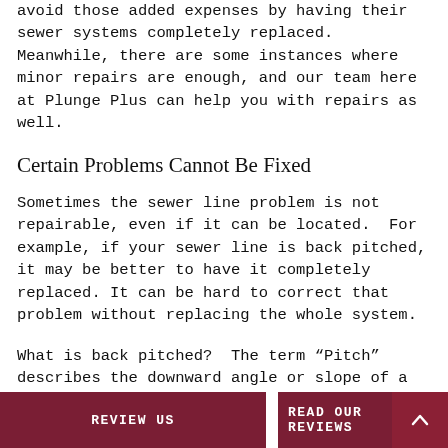avoid those added expenses by having their sewer systems completely replaced. Meanwhile, there are some instances where minor repairs are enough, and our team here at Plunge Plus can help you with repairs as well.
Certain Problems Cannot Be Fixed
Sometimes the sewer line problem is not repairable, even if it can be located. For example, if your sewer line is back pitched, it may be better to have it completely replaced. It can be hard to correct that problem without replacing the whole system.
What is back pitched? The term “Pitch” describes the downward angle or slope of a sewer line after it is installed in the ground. The slope assists liquid and solid waste to flow properly preventing the contaminants from flowing back toward the home. The size of the pipe dictates the slope of the sewer line. If the